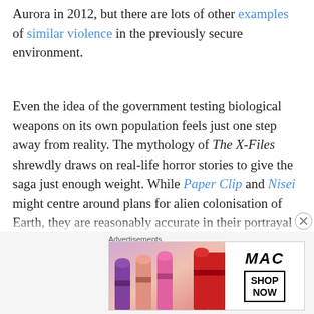Aurora in 2012, but there are lots of other examples of similar violence in the previously secure environment.
Even the idea of the government testing biological weapons on its own population feels just one step away from reality. The mythology of The X-Files shrewdly draws on real-life horror stories to give the saga just enough weight. While Paper Clip and Nisei might centre around plans for alien colonisation of Earth, they are reasonably accurate in their portrayal of how the United States benefited from the work of (and aided the escape of) various Axis war criminals following the Second World War. F. Emasculata recalls the radiation trials conducted upon prisoners
[Figure (other): MAC Cosmetics advertisement banner showing colorful lipsticks with MAC logo and SHOP NOW button]